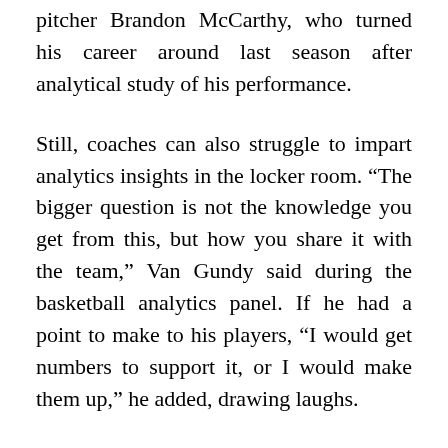pitcher Brandon McCarthy, who turned his career around last season after analytical study of his performance.
Still, coaches can also struggle to impart analytics insights in the locker room. “The bigger question is not the knowledge you get from this, but how you share it with the team,” Van Gundy said during the basketball analytics panel. If he had a point to make to his players, “I would get numbers to support it, or I would make them up,” he added, drawing laughs.
As the research-paper track made clear, the numbers available to coaches are ever-expanding. The winning research paper, “Deconstructing the Rebound with Optical Tracking Data,” found that shots taken within